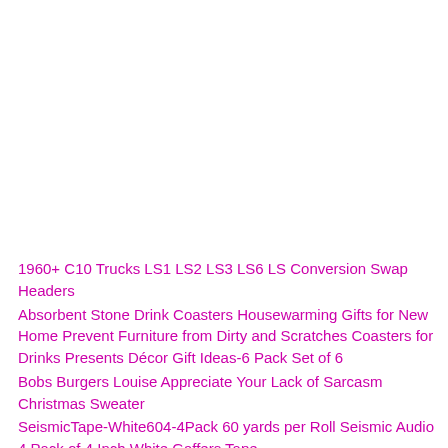1960+ C10 Trucks LS1 LS2 LS3 LS6 LS Conversion Swap Headers
Absorbent Stone Drink Coasters Housewarming Gifts for New Home Prevent Furniture from Dirty and Scratches Coasters for Drinks Presents Décor Gift Ideas-6 Pack Set of 6
Bobs Burgers Louise Appreciate Your Lack of Sarcasm Christmas Sweater
SeismicTape-White604-4Pack 60 yards per Roll Seismic Audio 4 Pack of 4 Inch White Gaffers Tape